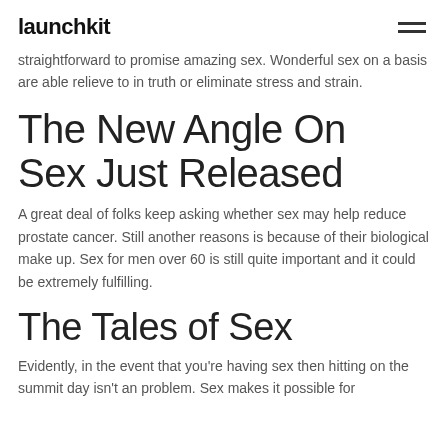launchkit
straightforward to promise amazing sex. Wonderful sex on a basis are able relieve to in truth or eliminate stress and strain.
The New Angle On Sex Just Released
A great deal of folks keep asking whether sex may help reduce prostate cancer. Still another reasons is because of their biological make up. Sex for men over 60 is still quite important and it could be extremely fulfilling.
The Tales of Sex
Evidently, in the event that you're having sex then hitting on the summit day isn't an problem. Sex makes it possible for